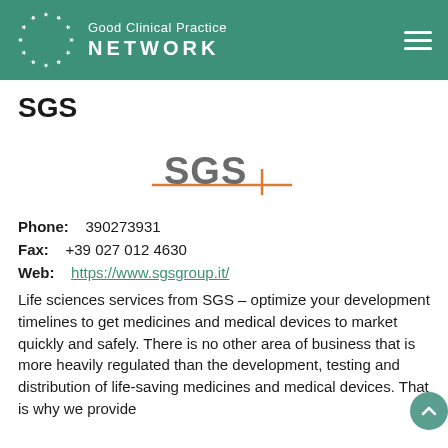Good Clinical Practice NETWORK
SGS
[Figure (logo): SGS company logo with grey bold text 'SGS' and an orange horizontal line with a vertical accent mark]
Phone: 390273931
Fax: +39 027 012 4630
Web: https://www.sgsgroup.it/
Life sciences services from SGS – optimize your development timelines to get medicines and medical devices to market quickly and safely. There is no other area of business that is more heavily regulated than the development, testing and distribution of life-saving medicines and medical devices. That is why we provide